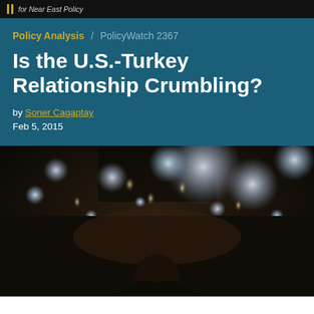for Near East Policy
Policy Analysis / PolicyWatch 2367
Is the U.S.-Turkey Relationship Crumbling?
by Soner Cagaptay
Feb 5, 2015
[Figure (photo): A person photographed in low light with bokeh background lighting effects, soft globe-shaped lights visible in background]